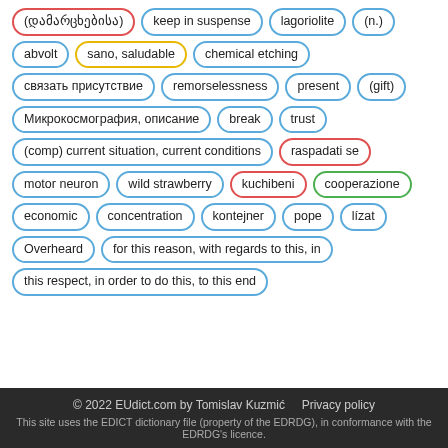(დამარცხებისა)
keep in suspense
lagoriolite
(n.)
abvolt
sano, saludable
chemical etching
связать присутствие
remorselessness
present
(gift)
Микрокосмография, описание
break trust
(comp) current situation, current conditions
raspadati se
motor neuron
wild strawberry
kuchibeni
cooperazione
economic concentration
kontejner
pope
lízat
Overheard
for this reason, with regards to this, in this respect, in order to do this, to this end
© 2022 EUdict.com by Tomislav Kuzmić   Privacy policy
This site uses the EDICT dictionary file (property of the EDRDG), in conformance with the EDRDG's licence.